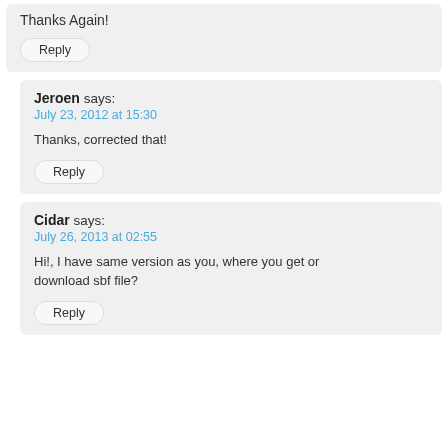Thanks Again!
Reply
Jeroen says:
July 23, 2012 at 15:30
Thanks, corrected that!
Reply
Cidar says:
July 26, 2013 at 02:55
Hi!, I have same version as you, where you get or download sbf file?
Reply